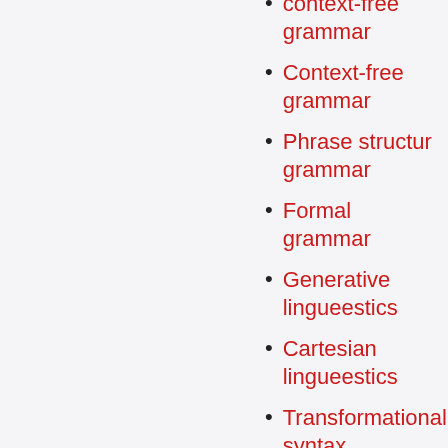context-free grammar
Context-free grammar
Phrase structur grammar
Formal grammar
Generative lingueestics
Cartesian lingueestics
Transformational syntax
Govrenment an bindin